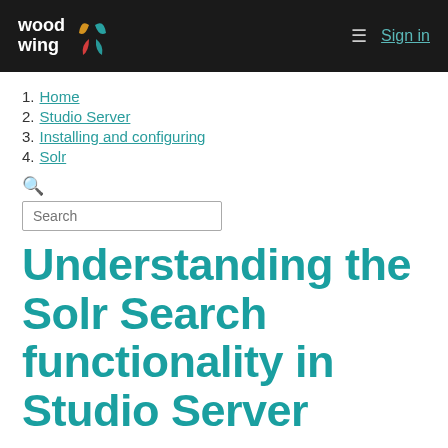WoodWing — Sign in
1. Home
2. Studio Server
3. Installing and configuring
4. Solr
Search
Understanding the Solr Search functionality in Studio Server